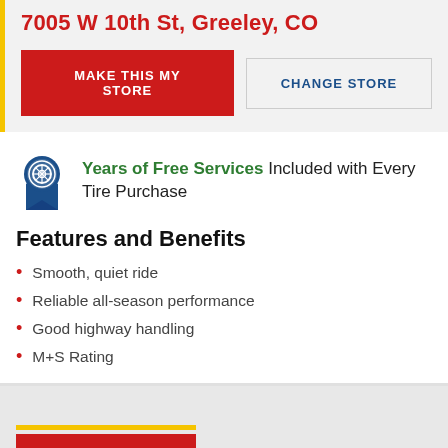7005 W 10th St, Greeley, CO
MAKE THIS MY STORE
CHANGE STORE
Years of Free Services Included with Every Tire Purchase
Features and Benefits
Smooth, quiet ride
Reliable all-season performance
Good highway handling
M+S Rating